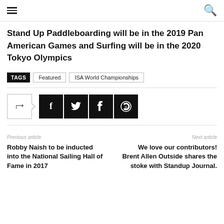Navigation header with menu and search icons
Stand Up Paddleboarding will be in the 2019 Pan American Games and Surfing will be in the 2020 Tokyo Olympics
TAGS  Featured  ISA World Championships
[Figure (other): Social share buttons: share icon, Facebook, Twitter, Pinterest, WhatsApp]
Previous article
Robby Naish to be inducted into the National Sailing Hall of Fame in 2017
Next article
We love our contributors! Brent Allen Outside shares the stoke with Standup Journal.